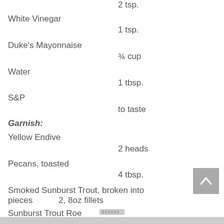2 tsp.
White Vinegar
1 tsp.
Duke's Mayonnaise
¾ cup
Water
1 tbsp.
S&P
to taste
Garnish:
Yellow Endive
2 heads
Pecans, toasted
4 tbsp.
Smoked Sunburst Trout, broken into pieces
2, 8oz fillets
Sunburst Trout Roe
2 oz.
Olive Oil